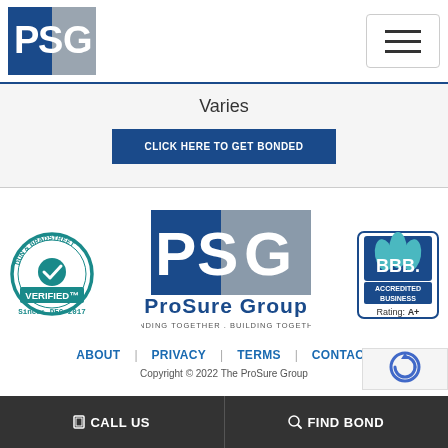[Figure (logo): PSG ProSure Group small header logo - blue and gray square with P, S, G letters]
[Figure (other): Hamburger menu button with three horizontal lines]
Varies
CLICK HERE TO GET BONDED
[Figure (logo): Dun & Bradstreet Verified badge - circular seal, teal/dark teal, Since: DEC 2017]
[Figure (logo): PSG ProSure Group large center logo - blue and gray with tagline BONDING TOGETHER . BUILDING TOGETHER]
[Figure (logo): BBB Accredited Business Rating: A+ badge in blue and teal]
ABOUT   PRIVACY   TERMS   CONTACT
Copyright © 2022 The ProSure Group
CALL US   FIND BOND